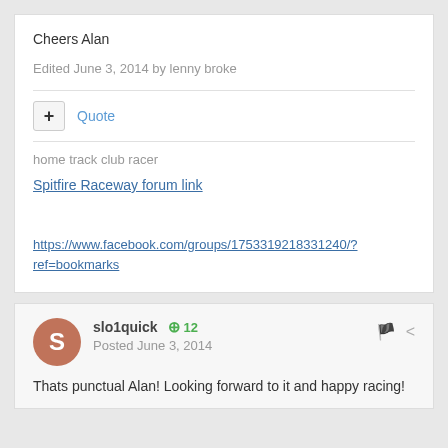Cheers Alan
Edited June 3, 2014 by lenny broke
+ Quote
home track club racer
Spitfire Raceway forum link
https://www.facebook.com/groups/1753319218331240/?ref=bookmarks
slo1quick  +12  Posted June 3, 2014
Thats punctual Alan! Looking forward to it and happy racing!